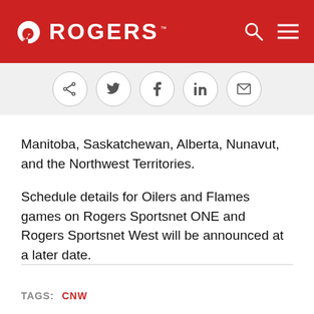[Figure (logo): Rogers logo with circular icon and ROGERS wordmark in white on red header background, with search and menu icons on the right]
[Figure (infographic): Social sharing buttons row: share, Twitter, Facebook, LinkedIn, email — circular outlined icons on light grey background]
Manitoba, Saskatchewan, Alberta, Nunavut, and the Northwest Territories.
Schedule details for Oilers and Flames games on Rogers Sportsnet ONE and Rogers Sportsnet West will be announced at a later date.
TAGS: CNW